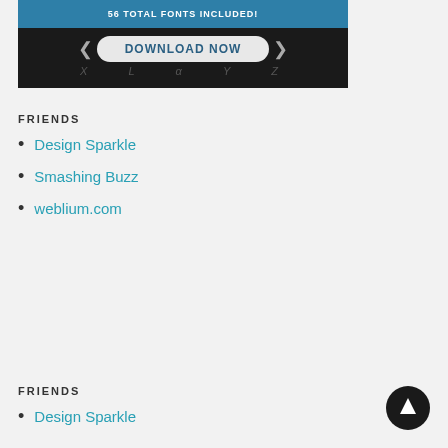[Figure (screenshot): Dark banner ad with blue header text '56 TOTAL FONTS INCLUDED!' and a 'DOWNLOAD NOW' button on dark background with decorative letters]
FRIENDS
Design Sparkle
Smashing Buzz
weblium.com
FRIENDS
Design Sparkle